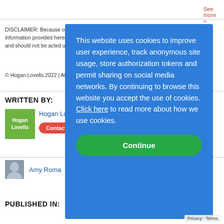See more »
DISCLAIMER: Because of the generality of this information, the information provided herein may not be applicable in all situations and should not be acted upon without specific legal advice.
© Hogan Lovells 2022 | Attorney Advertising
WRITTEN BY:
[Figure (logo): Hogan Lovells green logo with white text]
Hogan Lovells
Contact  + Follow
Amy Roma
PUBLISHED IN:
This website uses cookies to improve user experience, track anonymous site usage, store authorization tokens and permit sharing on social media networks. By continuing to browse this website you accept the use of cookies. Click here to read more about how we use cookies.

Continue